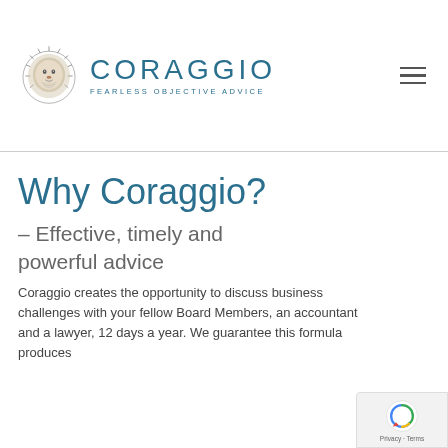CORAGGIO — FEARLESS OBJECTIVE ADVICE
Why Coraggio?
– Effective, timely and powerful advice
Coraggio creates the opportunity to discuss business challenges with your fellow Board Members, an accountant and a lawyer, 12 days a year. We guarantee this formula produces